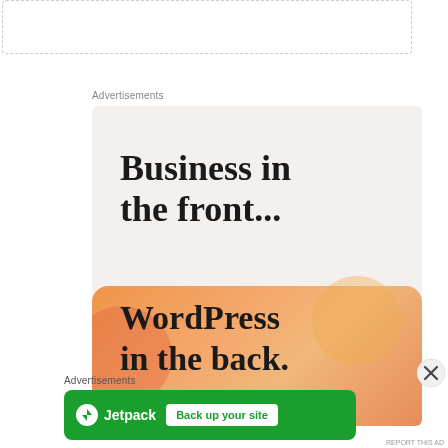[Figure (screenshot): Dashed border box at top of page, part of a web UI element]
Advertisements
[Figure (infographic): Advertisement banner with light gray background. Text reads 'Business in the front...' in large serif bold font at top. Bottom panel has orange gradient background with circle decorations and text 'WordPress in the back...' in large serif bold font.]
[Figure (logo): Close/dismiss button (X in circle) for the ad overlay]
Advertisements
[Figure (infographic): Jetpack advertisement banner. Green background. Jetpack logo with lightning bolt icon on left. 'Back up your site' button in white on right.]